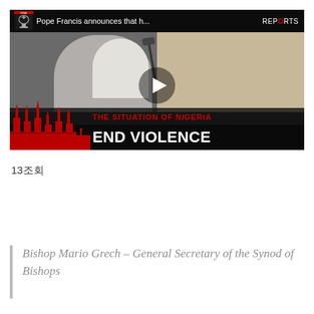[Figure (screenshot): Video thumbnail showing Pope Francis at a podium with a microphone. Title bar reads 'Pope Francis announces that h...' with a Rome Reports logo. Lower overlay text reads 'THE SITUATION OF NIGERIA' in red and 'END VIOLENCE' in white on dark background. Play button visible in center.]
13조회
Bishop Mario Grech – General Secretary of the Synod of Bishops